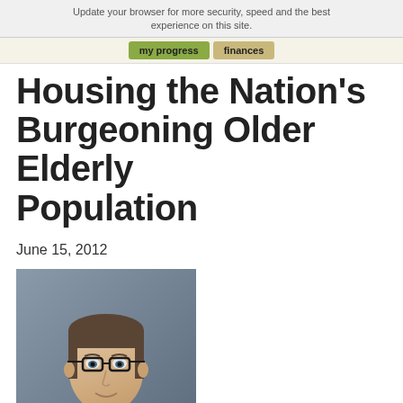Update your browser for more security, speed and the best experience on this site.
Housing the Nation's Burgeoning Older Elderly Population
June 15, 2012
[Figure (photo): Portrait photo of Doug Duncan, Chief Economist, Senior Vice President, a middle-aged man with glasses in a dark suit and blue shirt with red tie against a gray background.]
Doug Duncan
Chief Economist
Senior Vice President